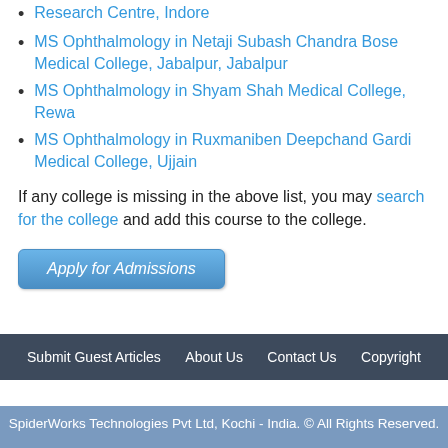Research Centre, Indore
MS Ophthalmology in Netaji Subash Chandra Bose Medical College, Jabalpur, Jabalpur
MS Ophthalmology in Shyam Shah Medical College, Rewa
MS Ophthalmology in Ruxmaniben Deepchand Gardi Medical College, Ujjain
If any college is missing in the above list, you may search for the college and add this course to the college.
Apply for Admissions
Submit Guest Articles   About Us   Contact Us   Copyright
SpiderWorks Technologies Pvt Ltd, Kochi - India. © All Rights Reserved.